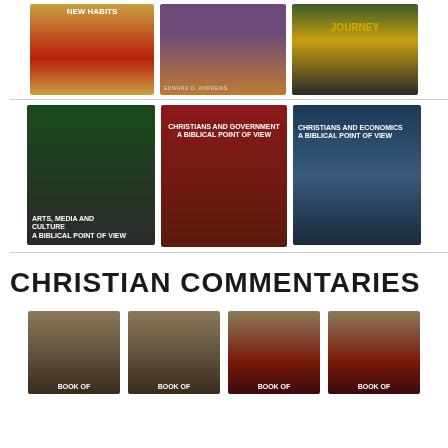[Figure (photo): Grid of book covers - row 1: 'New Habits' by Edward D. Andrews (red/gold cover), a dock/lake scene book by Edward D. Andrews (purple/orange), 'Journey: Those Who Become Jesus' Disciples' by Reginald E. Jones (gold/dark cover)]
[Figure (photo): Grid of book covers - row 2: 'Arts, Media and Culture: A Biblical Point of View' by Kerry Anderson (green/dark cover with crowd), 'Christians and Government: A Biblical Point of View' by Kerry Anderson (red/dark cover), 'Christians and Economics: A Biblical Point of View' by Kerry Anderson (blue/dark cover)]
CHRISTIAN COMMENTARIES
[Figure (photo): Four book covers in a row, all titled 'Book of ...' with varying covers - teal/blue architectural covers and red variants]